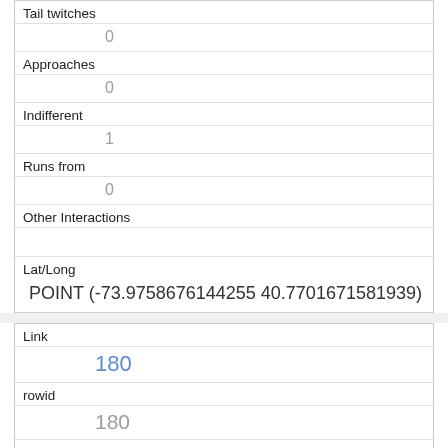| Tail twitches | 0 |
| Approaches | 0 |
| Indifferent | 1 |
| Runs from | 0 |
| Other Interactions |  |
| Lat/Long | POINT (-73.9758676144255 40.7701671581939) |
| Link | 180 |
| rowid | 180 |
| longitude | -73.96908283251791 |
| latitude |  |